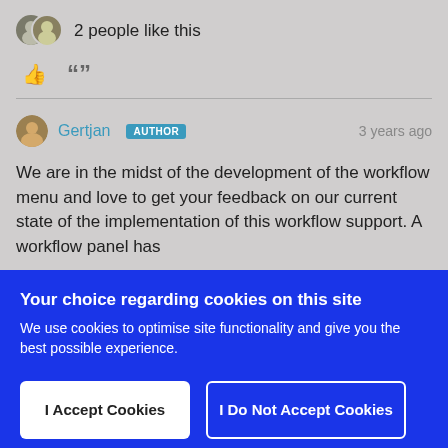2 people like this
Gertjan AUTHOR  3 years ago
We are in the midst of the development of the workflow menu and love to get your feedback on our current state of the implementation of this workflow support. A workflow panel has
Your choice regarding cookies on this site
We use cookies to optimise site functionality and give you the best possible experience.
I Accept Cookies
I Do Not Accept Cookies
Settings